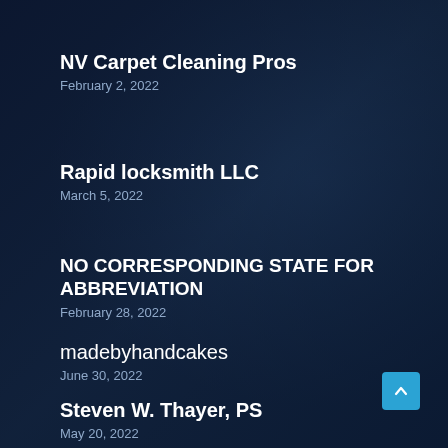NV Carpet Cleaning Pros
February 2, 2022
Rapid locksmith LLC
March 5, 2022
NO CORRESPONDING STATE FOR ABBREVIATION
February 28, 2022
madebyhandcakes
June 30, 2022
Steven W. Thayer, PS
May 20, 2022